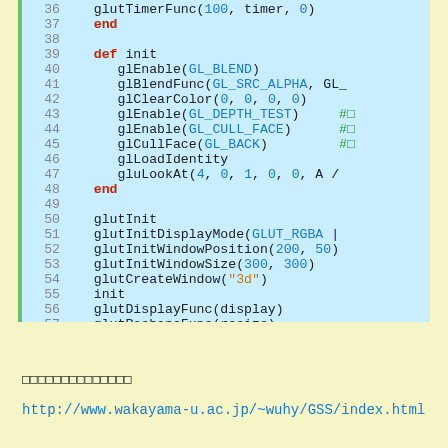[Figure (screenshot): Code block showing Ruby/OpenGL code lines 36-59 with syntax highlighting on a light blue background. Keywords in red, constants and numbers in blue, strings in orange, comments in blue.]
□□□□□□□□□□□□□□
http://www.wakayama-u.ac.jp/~wuhy/GSS/index.html